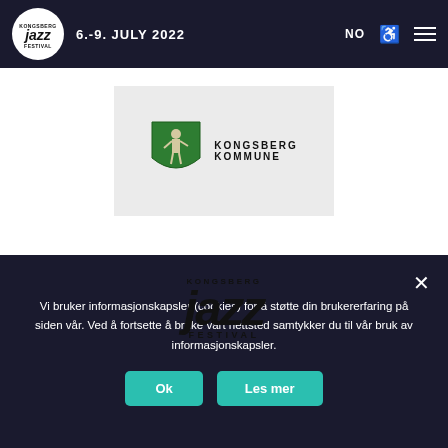Kongsberg Jazz Festival – 6.-9. JULY 2022
[Figure (logo): Kongsberg Kommune logo: green shield with figure and text KONGSBERG KOMMUNE]
[Figure (logo): Kongsberg Jazz Festival large logo with stylized jazz text]
Vi bruker informasjonskapsler (cookies) for å støtte din brukererfaring på siden vår. Ved å fortsette å bruke vårt nettsted samtykker du til vår bruk av informasjonskapsler.
Ok
Les mer